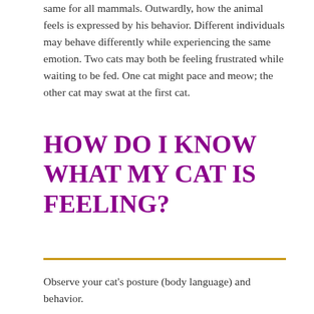same for all mammals. Outwardly, how the animal feels is expressed by his behavior. Different individuals may behave differently while experiencing the same emotion. Two cats may both be feeling frustrated while waiting to be fed. One cat might pace and meow; the other cat may swat at the first cat.
HOW DO I KNOW WHAT MY CAT IS FEELING?
Observe your cat's posture (body language) and behavior.